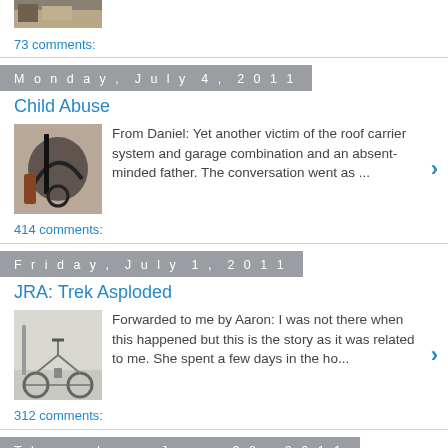[Figure (photo): Small thumbnail image at top, partially visible]
73 comments:
Monday, July 4, 2011
Child Abuse
[Figure (photo): Thumbnail image of a bent/damaged bicycle]
From Daniel: Yet another victim of the roof carrier system and garage combination and an absent-minded father. The conversation went as ...
414 comments:
Friday, July 1, 2011
JRA: Trek Asploded
[Figure (photo): Thumbnail image of a road bicycle leaning against a wall]
Forwarded to me by Aaron: I was not there when this happened but this is the story as it was related to me. She spent a few days in the ho...
312 comments:
Thursday, June 30, 2011